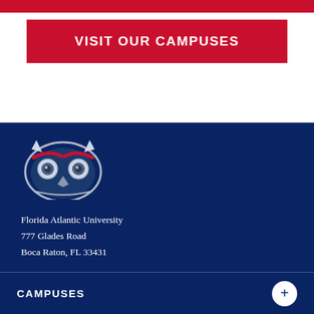VISIT OUR CAMPUSES
[Figure (logo): Florida Atlantic University owl mascot logo — stylized owl face with red eyebrows, white and dark blue feathers, on a dark navy background]
Florida Atlantic University
777 Glades Road
Boca Raton, FL 33431
[Figure (infographic): Row of five social media icons (Facebook, Twitter, YouTube, Instagram, LinkedIn) as white circles on dark navy background]
CAMPUSES